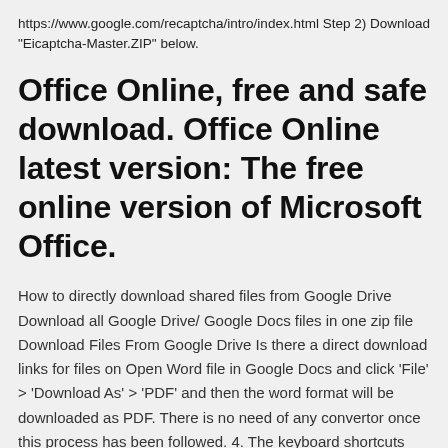https://www.google.com/recaptcha/intro/index.html Step 2) Download "Eicaptcha-Master.ZIP" below.
Office Online, free and safe download. Office Online latest version: The free online version of Microsoft Office.
How to directly download shared files from Google Drive Download all Google Drive/ Google Docs files in one zip file Download Files From Google Drive Is there a direct download links for files on Open Word file in Google Docs and click 'File' > 'Download As' > 'PDF' and then the word format will be downloaded as PDF. There is no need of any convertor once this process has been followed. 4. The keyboard shortcuts can also be used to perform different functions on PDF files that have been exported to Google Docs from Google Drive. Why won't Google